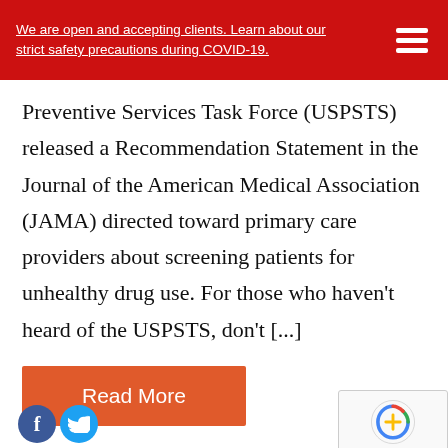We are open and accepting clients. Learn about our strict safety precautions during COVID-19.
Preventive Services Task Force (USPSTS) released a Recommendation Statement in the Journal of the American Medical Association (JAMA) directed toward primary care providers about screening patients for unhealthy drug use. For those who haven’t heard of the USPSTS, don’t [...]
Read More
Post navigation
← Older posts